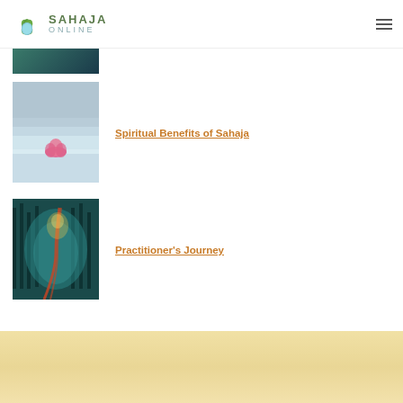SAHAJA ONLINE
[Figure (photo): Partially visible image at top of article list]
Spiritual Benefits of Sahaja
Practitioner's Journey
[Figure (photo): Beige/tan textured background footer band]